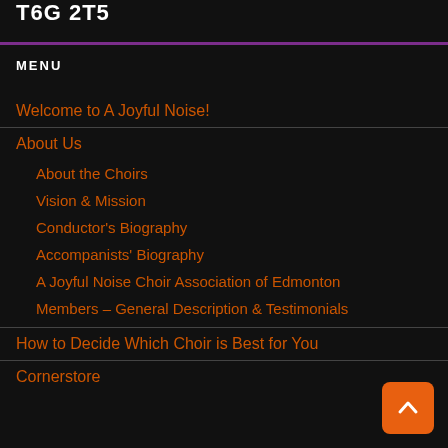T6G 2T5
MENU
Welcome to A Joyful Noise!
About Us
About the Choirs
Vision & Mission
Conductor's Biography
Accompanists' Biography
A Joyful Noise Choir Association of Edmonton
Members – General Description & Testimonials
How to Decide Which Choir is Best for You
Cornerstore